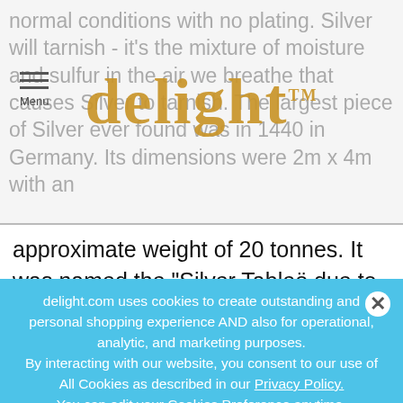[Figure (logo): Delight TM logo in gold/yellow with hamburger menu icon and Menu label on the left]
normal conditions with no plating. Silver will tarnish - it's the mixture of moisture and sulfur in the air we breathe that causes Silver to tarnish. The largest piece of Silver ever found was in 1440 in Germany. Its dimensions were 2m x 4m with an approximate weight of 20 tonnes. It was named the "Silver Tableö due to its size and shape. The main area of the world that Silver is mined today is Russia. The country produces around 15% of the world's total output, closely followed by Mexico. Canada, the USA, Peru, Bolivia and Germany have also have notable deposits.
delight.com uses cookies to create outstanding and personal shopping experience AND also for operational, analytic, and marketing purposes.
By interacting with our website, you consent to our use of All Cookies as described in our Privacy Policy.
You can edit your Cookies Preference anytime.